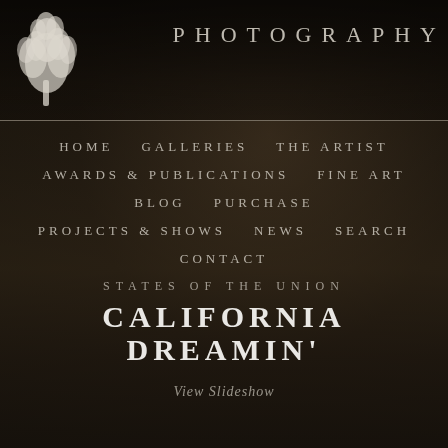[Figure (logo): White tree silhouette logo on dark moody background with text PHOTOGRAPHY in spaced uppercase letters]
PHOTOGRAPHY
HOME
GALLERIES
THE ARTIST
AWARDS & PUBLICATIONS
FINE ART
BLOG
PURCHASE
PROJECTS & SHOWS
NEWS
SEARCH
CONTACT
STATES OF THE UNION
CALIFORNIA DREAMIN'
View Slideshow